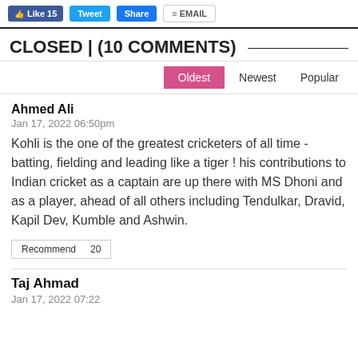Like 15 | Tweet | Share | EMAIL
CLOSED | (10 COMMENTS)
Oldest  Newest  Popular
Ahmed Ali
Jan 17, 2022 06:50pm
Kohli is the one of the greatest cricketers of all time - batting, fielding and leading like a tiger ! his contributions to Indian cricket as a captain are up there with MS Dhoni and as a player, ahead of all others including Tendulkar, Dravid, Kapil Dev, Kumble and Ashwin.
Recommend  20
Taj Ahmad
Jan 17, 2022 07:22